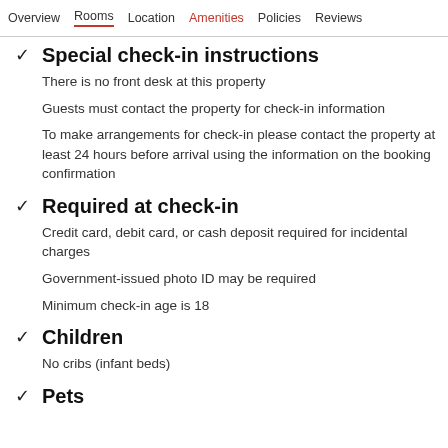Overview  Rooms  Location  Amenities  Policies  Reviews
Special check-in instructions
There is no front desk at this property
Guests must contact the property for check-in information
To make arrangements for check-in please contact the property at least 24 hours before arrival using the information on the booking confirmation
Required at check-in
Credit card, debit card, or cash deposit required for incidental charges
Government-issued photo ID may be required
Minimum check-in age is 18
Children
No cribs (infant beds)
Pets